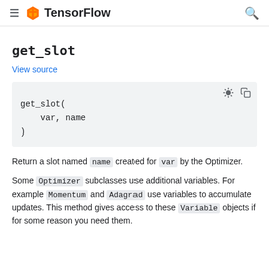TensorFlow
get_slot
View source
[Figure (screenshot): Code block showing get_slot( var, name ) function signature on a grey background with brightness and copy icons]
Return a slot named name created for var by the Optimizer.
Some Optimizer subclasses use additional variables. For example Momentum and Adagrad use variables to accumulate updates. This method gives access to these Variable objects if for some reason you need them.